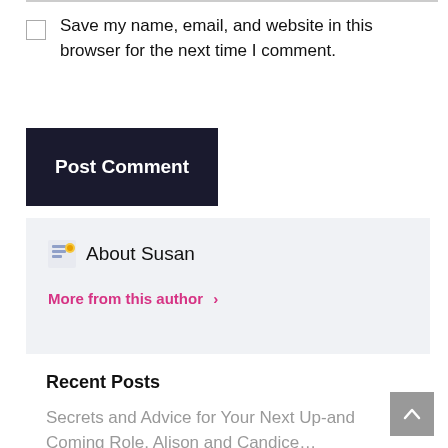Save my name, email, and website in this browser for the next time I comment.
Post Comment
About Susan
More from this author ›
Recent Posts
Secrets and Advice for Your Next Up-and Coming Role, Alison and Candice…